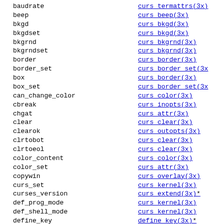| Function | Manual Page |
| --- | --- |
| baudrate | curs_termattrs(3x) |
| beep | curs_beep(3x) |
| bkgd | curs_bkgd(3x) |
| bkgdset | curs_bkgd(3x) |
| bkgrnd | curs_bkgrnd(3x) |
| bkgrndset | curs_bkgrnd(3x) |
| border | curs_border(3x) |
| border_set | curs_border_set(3x) |
| box | curs_border(3x) |
| box_set | curs_border_set(3x) |
| can_change_color | curs_color(3x) |
| cbreak | curs_inopts(3x) |
| chgat | curs_attr(3x) |
| clear | curs_clear(3x) |
| clearok | curs_outopts(3x) |
| clrtobot | curs_clear(3x) |
| clrtoeol | curs_clear(3x) |
| color_content | curs_color(3x) |
| color_set | curs_attr(3x) |
| copywin | curs_overlay(3x) |
| curs_set | curs_kernel(3x) |
| curses_version | curs_extend(3x)* |
| def_prog_mode | curs_kernel(3x) |
| def_shell_mode | curs_kernel(3x) |
| define_key | define_key(3x)* |
| del_curterm | curs_terminfo(3x) |
| delay_output | curs_util(3x) |
| delch | curs_delch(3x) |
| deleteln | curs_deleteln(3x) |
| delscreen | curs_initscr(3x) |